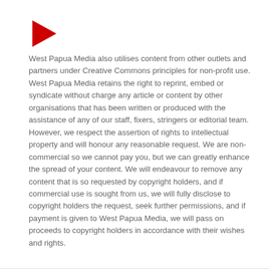[Figure (illustration): Red right-pointing triangle/play button icon]
West Papua Media also utilises content from other outlets and partners under Creative Commons principles for non-profit use. West Papua Media retains the right to reprint, embed or syndicate without charge any article or content by other organisations that has been written or produced with the assistance of any of our staff, fixers, stringers or editorial team. However, we respect the assertion of rights to intellectual property and will honour any reasonable request. We are non-commercial so we cannot pay you, but we can greatly enhance the spread of your content. We will endeavour to remove any content that is so requested by copyright holders, and if commercial use is sought from us, we will fully disclose to copyright holders the request, seek further permissions, and if payment is given to West Papua Media, we will pass on proceeds to copyright holders in accordance with their wishes and rights.